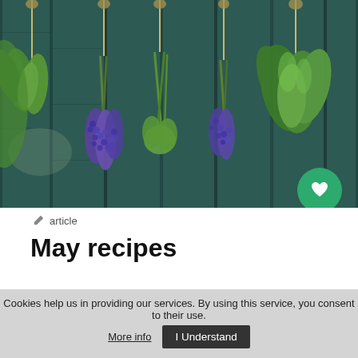[Figure (photo): Bunches of fresh herbs (including green herbs and purple lavender/muscari flowers) hanging upside down to dry against a dark teal/green wooden plank wall]
article
May recipes
May is the season when food gets realy colorful. Herbs like basil, rosemary, thyme, oregano, chives and mint
Cookies help us in providing our services. By using this service, you consent to their use. More info  I Understand